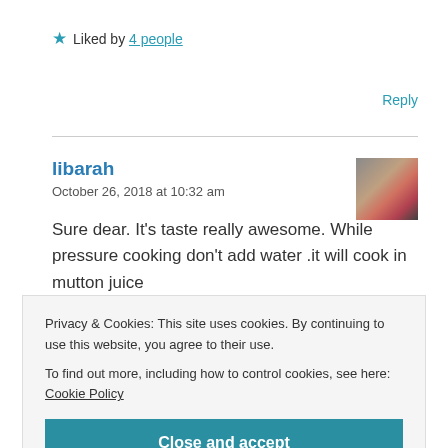★ Liked by 4 people
Reply
libarah
October 26, 2018 at 10:32 am
Sure dear. It's taste really awesome. While pressure cooking don't add water .it will cook in mutton juice
Privacy & Cookies: This site uses cookies. By continuing to use this website, you agree to their use.
To find out more, including how to control cookies, see here: Cookie Policy
Close and accept